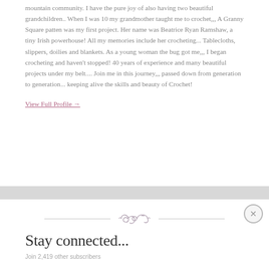mountain community. I have the pure joy of also having two beautiful grandchildren.. When I was 10 my grandmother taught me to crochet,,, A Granny Square patten was my first project. Her name was Beatrice Ryan Ramshaw, a tiny Irish powerhouse! All my memories include her crocheting... Tablecloths, slippers, doilies and blankets. As a young woman the bug got me,,, I began crocheting and haven't stopped! 40 years of experience and many beautiful projects under my belt.... Join me in this journey,,, passed down from generation to generation... keeping alive the skills and beauty of Crochet!
View Full Profile →
[Figure (illustration): Decorative flourish ornament divider — swirl design between two horizontal lines]
Stay connected...
Join 2,419 other subscribers